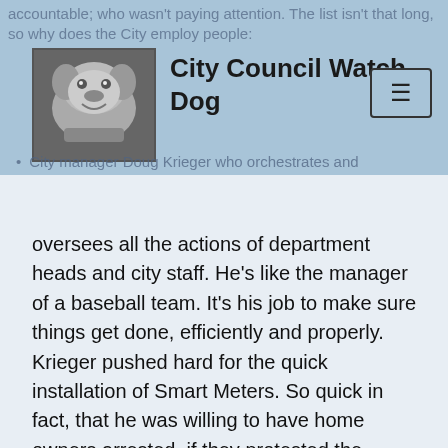City Council Watch Dog
accountable; who wasn't paying attention. The list isn't that long, so why does the City employ people:
City manager Doug Krieger who orchestrates and oversees all the actions of department heads and city staff. He's like the manager of a baseball team. It's his job to make sure things get done, efficiently and properly. Krieger pushed hard for the quick installation of Smart Meters. So quick in fact, that he was willing to have home owners arrested, if they protested the forced installation of those meters on their homes. That action in itself, resulted in a lawsuit by a home owner against the City, and the home owner won in court, costing the City (residents) a six-figure settlement.
Director of Public Utility-Electric, Mark Curran. He's in charge of Naperville's electric utility and was 'expert' on Smart Meter usage and technology. He was also hell-